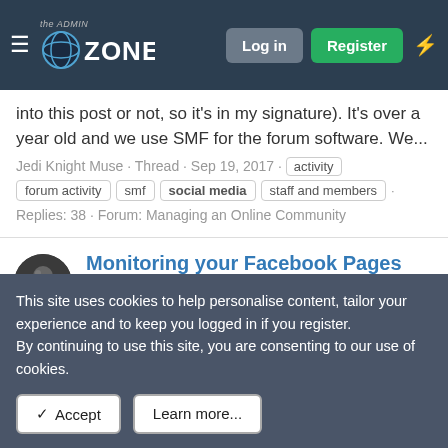the ADMIN ZONE — Log in | Register
into this post or not, so it's in my signature). It's over a year old and we use SMF for the forum software. We...
Jedi Knight Muse · Thread · Sep 19, 2017 · activity
forum activity | smf | social media | staff and members
Replies: 38 · Forum: Managing an Online Community
Monitoring your Facebook Pages
If you're running an online community, there's a high likelihood you also have a Facebook Page to take advantage of Social Media (in the hopes of it sending traffic to your forum). Obviously, there's the Insights tab available to monitor how your page is doing but (and I don't know about anyone...
This site uses cookies to help personalise content, tailor your experience and to keep you logged in if you register.
By continuing to use this site, you are consenting to our use of cookies.